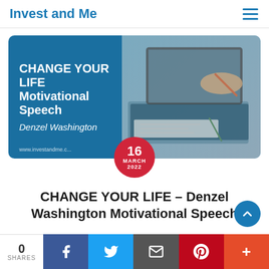Invest and Me
[Figure (illustration): Banner image with dark blue left panel showing bold text 'CHANGE YOUR LIFE Motivational Speech Denzel Washington' and right panel showing a photo of a person writing notes with a laptop. A red circular date badge overlaps the bottom center reading '16 MARCH 2022'.]
CHANGE YOUR LIFE – Denzel Washington Motivational Speech
[Figure (infographic): Social share bar at the bottom: 0 SHARES, followed by Facebook (blue), Twitter (light blue), Email (dark gray), Pinterest (red), and More (orange-red) share buttons.]